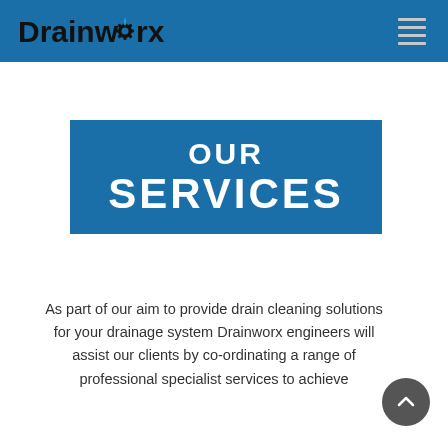Drainworx
OUR SERVICES
As part of our aim to provide drain cleaning solutions for your drainage system Drainworx engineers will assist our clients by co-ordinating a range of professional specialist services to achieve